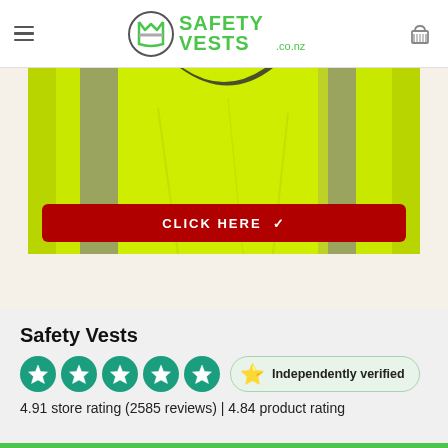Safety Vests .co.nz — navigation header with hamburger menu and cart icon
[Figure (photo): Close-up photo of a yellow/lime high-visibility safety vest with reflective grey stripe, partially cropped showing collar area]
CLICK HERE ✓
Safety Vests
[Figure (other): Five green star rating circles followed by an independently verified badge with a star emoji]
4.91 store rating (2585 reviews) | 4.84 product rating